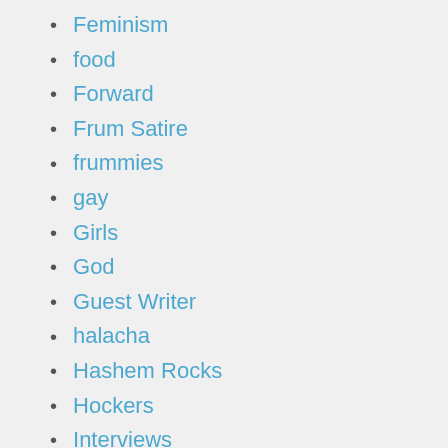Feminism
food
Forward
Frum Satire
frummies
gay
Girls
God
Guest Writer
halacha
Hashem Rocks
Hockers
Interviews
Israel
Jewish
Jewish Community
jewish geography
Jewish words
Jokes and Humor